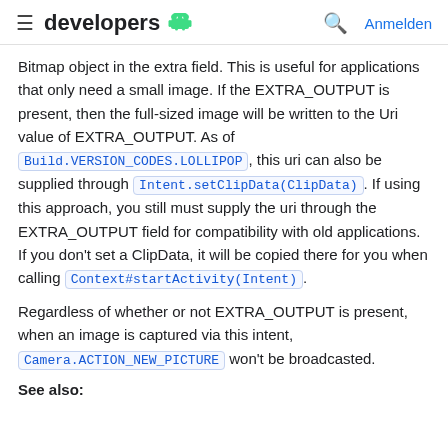≡ developers 🤖  🔍 Anmelden
Bitmap object in the extra field. This is useful for applications that only need a small image. If the EXTRA_OUTPUT is present, then the full-sized image will be written to the Uri value of EXTRA_OUTPUT. As of Build.VERSION_CODES.LOLLIPOP, this uri can also be supplied through Intent.setClipData(ClipData). If using this approach, you still must supply the uri through the EXTRA_OUTPUT field for compatibility with old applications. If you don't set a ClipData, it will be copied there for you when calling Context#startActivity(Intent).
Regardless of whether or not EXTRA_OUTPUT is present, when an image is captured via this intent, Camera.ACTION_NEW_PICTURE won't be broadcasted.
See also: